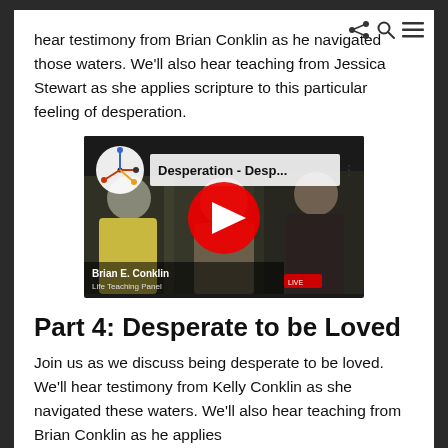hear testimony from Brian Conklin as he navigated those waters. We'll also hear teaching from Jessica Stewart as she applies scripture to this particular feeling of desperation.
[Figure (screenshot): YouTube video thumbnail showing 'Desperation - Desp...' with three people visible and a red YouTube play button in the center. A logo with colored dots is in the upper left. Text at bottom shows 'Brian E. Conklin' and 'Life Teaching Panel'.]
Part 4: Desperate to be Loved
Join us as we discuss being desperate to be loved. We'll hear testimony from Kelly Conklin as she navigated these waters. We'll also hear teaching from Brian Conklin as he applies scripture to this particular feeling of desperation.